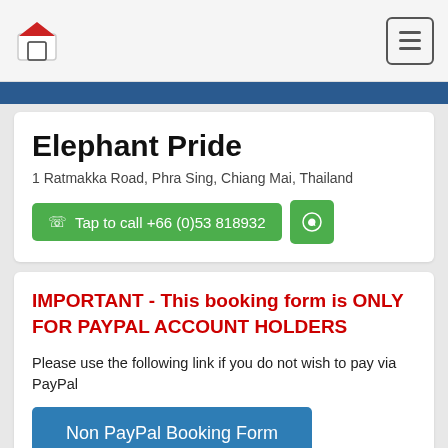Elephant Pride - header navigation
Elephant Pride
1 Ratmakka Road, Phra Sing, Chiang Mai, Thailand
Tap to call +66 (0)53 818932
IMPORTANT - This booking form is ONLY FOR PAYPAL ACCOUNT HOLDERS
Please use the following link if you do not wish to pay via PayPal
Non PayPal Booking Form